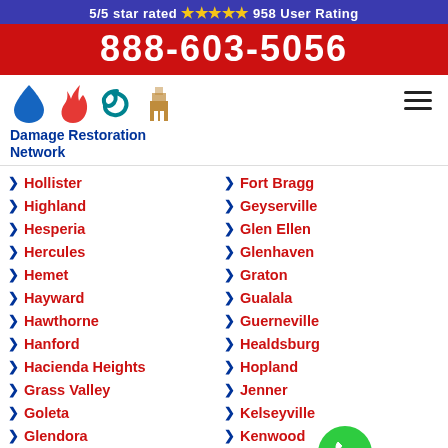5/5 star rated ⭐⭐⭐⭐⭐ 958 User Rating
888-603-5056
[Figure (logo): Damage Restoration Network logo with water drop, fire, hurricane, and building icons]
Hollister
Highland
Hesperia
Hercules
Hemet
Hayward
Hawthorne
Hanford
Hacienda Heights
Grass Valley
Goleta
Glendora
Gilroy
Gardena
Fort Bragg
Geyserville
Glen Ellen
Glenhaven
Graton
Gualala
Guerneville
Healdsburg
Hopland
Jenner
Kelseyville
Kenwood
Lakeport
Laytonville